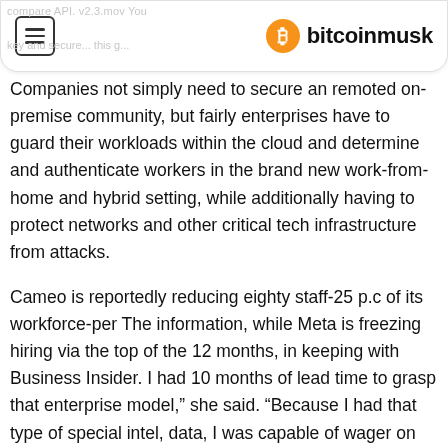bitcoinmusk
Companies not simply need to secure an remoted on-premise community, but fairly enterprises have to guard their workloads within the cloud and determine and authenticate workers in the brand new work-from-home and hybrid setting, while additionally having to protect networks and other critical tech infrastructure from attacks.
Cameo is reportedly reducing eighty staff-25 p.c of its workforce-per The information, while Meta is freezing hiring via the top of the 12 months, in keeping with Business Insider. I had 10 months of lead time to grasp that enterprise model,” she said. “Because I had that type of special intel, data, I was capable of wager on Lime actually, actually early on. The first months of 2021 point out there’s no slowdown in sight for the industry, with over $3.7 billion invested and the emergence of nine new unicorns in Q1 alone. The 50